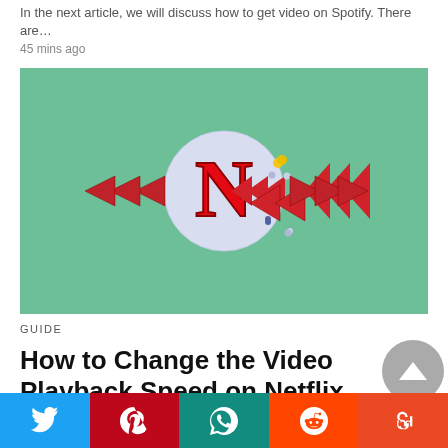In the next article, we will discuss how to get video on Spotify. There are…
45 mins ago
[Figure (illustration): Green background illustration with Netflix N logo in a light blue circle, flanked by red rewind (left) and fast-forward (right) arrow icons, with decorative dots around the circle.]
GUIDE
How to Change the Video Playback Speed on Netflix